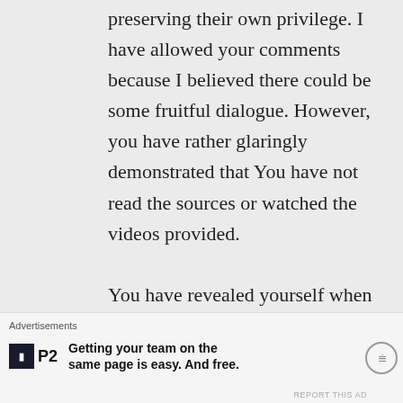preserving their own privilege. I have allowed your comments because I believed there could be some fruitful dialogue. However, you have rather glaringly demonstrated that You have not read the sources or watched the videos provided.

You have revealed yourself when you stated you don't care about the victims. You
Advertisements
Getting your team on the same page is easy. And free.